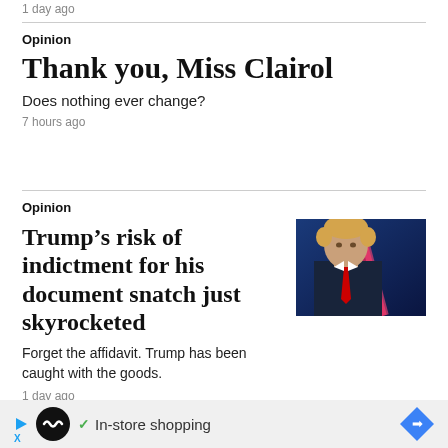1 day ago
Opinion
Thank you, Miss Clairol
Does nothing ever change?
7 hours ago
Opinion
Trump’s risk of indictment for his document snatch just skyrocketed
[Figure (photo): Portrait photo of Donald Trump in dark suit and red tie against blue background]
Forget the affidavit. Trump has been caught with the goods.
1 day ago
In-store shopping